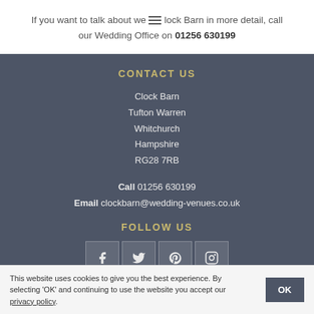If you want to talk about weddings at Clock Barn in more detail, call our Wedding Office on 01256 630199
CONTACT US
Clock Barn
Tufton Warren
Whitchurch
Hampshire
RG28 7RB
Call 01256 630199
Email clockbarn@wedding-venues.co.uk
FOLLOW US
[Figure (infographic): Row of four social media icons: Facebook, Twitter, Pinterest, Instagram]
This website uses cookies to give you the best experience. By selecting 'OK' and continuing to use the website you accept our privacy policy.